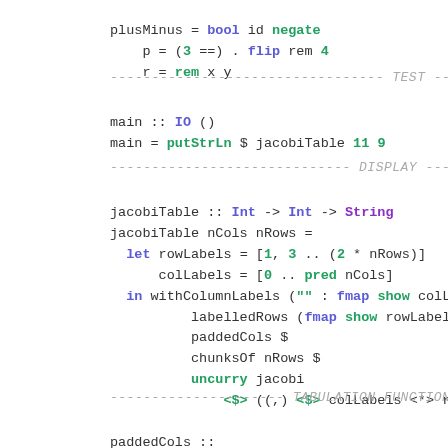plusMinus = bool id negate
    p = (3 ==) . flip rem 4
    r = rem x y
--------------------------------- TEST ------------------
main :: IO ()
main = putStrLn $ jacobiTable 11 9
----------------------------- DISPLAY ---------------
jacobiTable :: Int -> Int -> String
jacobiTable nCols nRows =
  let rowLabels = [1, 3 .. (2 * nRows)]
      colLabels = [0 .. pred nCols]
  in withColumnLabels ("" : fmap show colLab
          labelledRows (fmap show rowLabels) $
          paddedCols $
          chunksOf nRows $
          uncurry jacobi
              <$> ((,) <$> colLabels <*> ro
--------------------- TABULATION FUNCTIONS ---
paddedCols ::
  Show a =>
  [[a]] ->